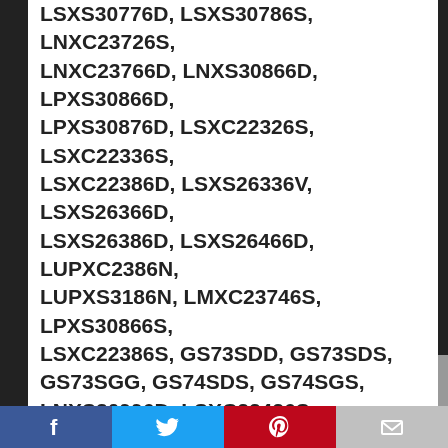LSXS30776D, LSXS30786S, LNXC23726S, LNXC23766D, LNXS30866D, LPXS30866D, LPXS30876D, LSXC22326S, LSXC22336S, LSXC22386D, LSXS26336V, LSXS26366D, LSXS26386D, LSXS26466D, LUPXC2386N, LUPXS3186N, LMXC23746S, LPXS30866S, LSXC22386S, GS73SDD, GS73SDS, GS73SGG, GS74SDS, GS74SGS, LNXS30996D, LSXC22426S, LSXC22436S, LSXC22486D, LSXC22486S, LSXS26336D.
100% Satisfaction Guarantee
FilterLogic offers unconditional 30-day money back guarantee. Our professional